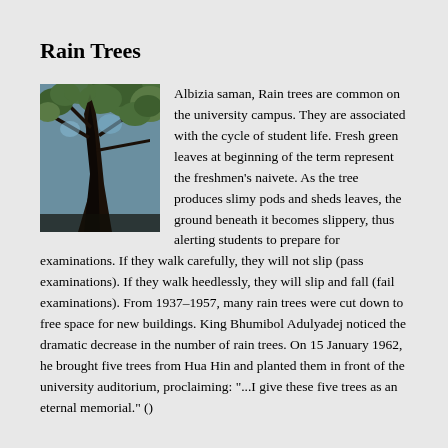Rain Trees
[Figure (photo): Photograph looking up at a rain tree trunk and canopy with green leaves against a bright sky]
Albizia saman, Rain trees are common on the university campus. They are associated with the cycle of student life. Fresh green leaves at beginning of the term represent the freshmen's naivete. As the tree produces slimy pods and sheds leaves, the ground beneath it becomes slippery, thus alerting students to prepare for examinations. If they walk carefully, they will not slip (pass examinations). If they walk heedlessly, they will slip and fall (fail examinations). From 1937–1957, many rain trees were cut down to free space for new buildings. King Bhumibol Adulyadej noticed the dramatic decrease in the number of rain trees. On 15 January 1962, he brought five trees from Hua Hin and planted them in front of the university auditorium, proclaiming: "...I give these five trees as an eternal memorial." ()